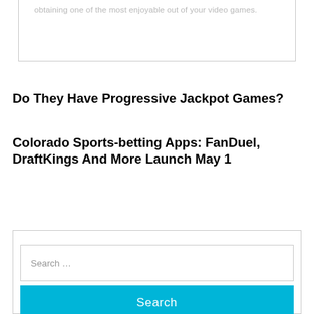obtaining one of the most enjoyable out of your video games.
Do They Have Progressive Jackpot Games?
Colorado Sports-betting Apps: FanDuel, DraftKings And More Launch May 1
Search ...
Search